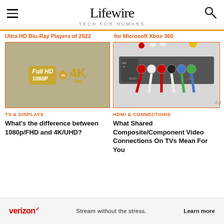Lifewire TECH FOR HUMANS
Ultra HD Blu-Ray Players of 2022
for Microsoft Xbox 360
[Figure (photo): Full HD 1080p vs 4K UHD logos side by side on gold/tan background]
[Figure (photo): AV input panel with component/composite video cables plugged in, showing red, white, and colored connectors]
TV & DISPLAYS
What's the difference between 1080p/FHD and 4K/UHD?
HDMI & CONNECTIONS
What Shared Composite/Component Video Connections On TVs Mean For You
verizon Stream without the stress. Learn more